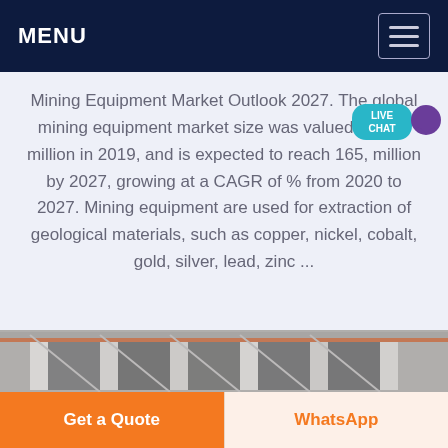MENU
Mining Equipment Market Outlook 2027. The global mining equipment market size was valued at 121, million in 2019, and is expected to reach 165, million by 2027, growing at a CAGR of % from 2020 to 2027. Mining equipment are used for extraction of geological materials, such as copper, nickel, cobalt, gold, silver, lead, zinc ...
[Figure (photo): Industrial building or mining facility structure, black and white/grayscale photograph showing large warehouse or plant with columns and structural elements]
Get a Quote
WhatsApp